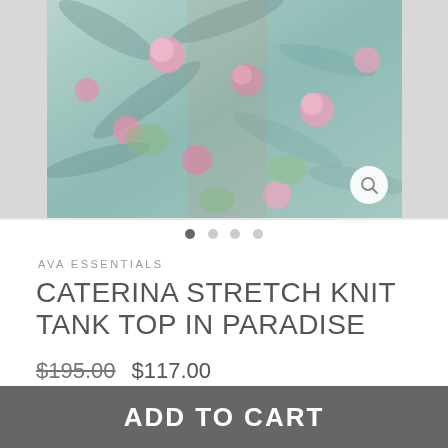[Figure (photo): Product photo of a woman wearing a tropical floral print stretch knit tank top (Caterina Stretch Knit Tank Top in Paradise by Ava Essentials). The outfit features a blue-green base with pink floral and leaf patterns. The image is cropped showing torso and upper legs.]
AVA ESSENTIALS
CATERINA STRETCH KNIT TANK TOP IN PARADISE
$195.00  $117.00
ADD TO CART